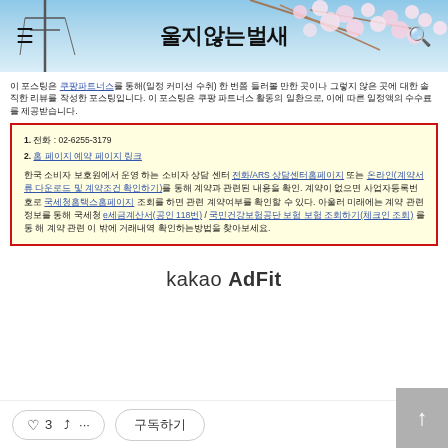울지않는벌새
이 포스팅은 쿠팡파트너스를 통해(일정 커미션 수취) 한 번쯤 들러볼 만한 곳이나 그렇지 않은 곳에 대한 솔직한 리뷰를 작성한 포스팅입니다.
1. 전화 : 02-6255-3179
2. 홈 페이지 예약 페이지 링크
한국 소비자 보호원에서 운영 하는 소비자 상담 센터 전화/ARS 상담센터홈페이지 또는 온라인(계약서류 다운로드 및 계약조건 확인하기)를 통해 계약과 관련된 내용을 확인. 계약이 없으면 사업자등록번호로 국세청홈택스홈페이지 조회를 하면 관련 계약여부를 확인할 수 있다. 아울러 미래에는 계약 관련 정보를 통해 국세청 e세금계산서(공인 118번) / 국민건강보험공단 보험 보험 조회하기(체크인 조회) 를 통 해 계약 관련 이 밖에 거래내역 확인하는방법을 찾아보세요.
kakao AdFit
♡ 3  ··· 구독하기